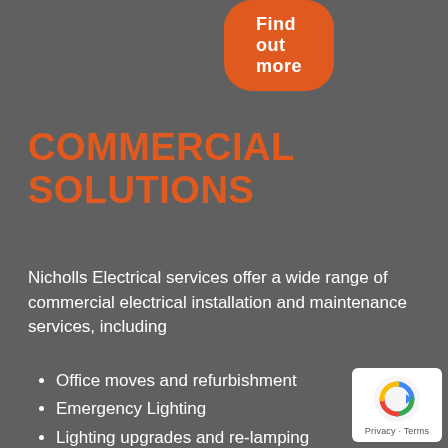[Figure (other): Orange rounded button with bold white text reading 'Find out more']
COMMERCIAL SOLUTIONS
Nicholls Electrical services offer a wide range of commercial electrical installation and maintenance services, including
Office moves and refurbishment
Emergency Lighting
Lighting upgrades and re-lamping
Distribution board upgrades
Shop-fitting and display lighting
[Figure (logo): reCAPTCHA badge with blue arrow icon and 'Privacy · Terms' text]